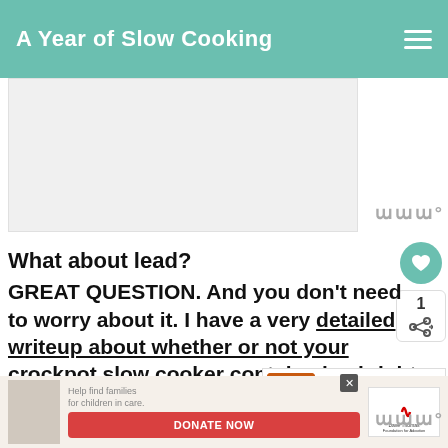A Year of Slow Cooking
[Figure (photo): Large rectangular image placeholder, light gray background]
What about lead?
GREAT QUESTION. And you don't need to worry about it. I have a very detailed writeup about whether or not your crockpot slow cooker contains lead right
[Figure (other): WHAT'S NEXT panel with CrockPot Hamburger... thumbnail]
[Figure (other): Advertisement banner: Donate Now - Dave Thomas Foundation for Adoption]